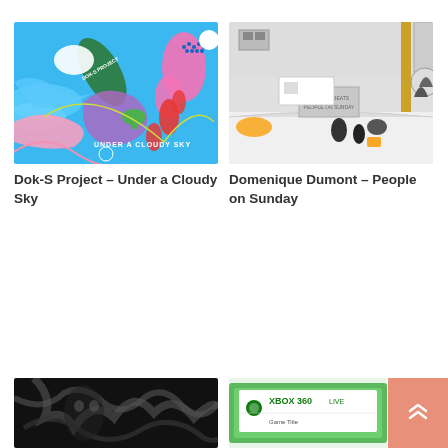[Figure (illustration): Album cover for Dok-S Project – Under a Cloudy Sky: colorful abstract art with blue background, pink blobs, green and purple organic shapes, text overlay]
[Figure (illustration): Album/artwork cover for Domenique Dumont – People on Sunday: black and white illustration of a city scene with figures, gold vertical pole, and buildings]
Dok-S Project – Under a Cloudy Sky
Domenique Dumont – People on Sunday
[Figure (photo): Dark black and white photograph with organic tree/branch-like textures]
[Figure (photo): Xbox 360 Live game case in green packaging, partially visible]